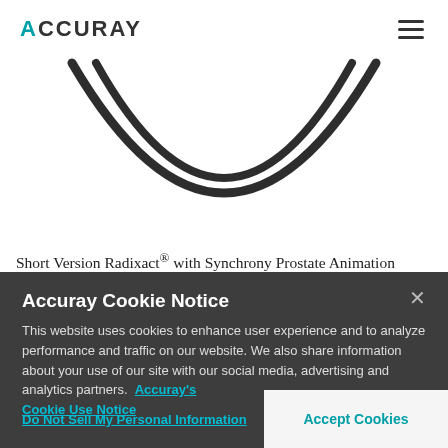ACCURAY
[Figure (illustration): Partial arc/smile shape made of two concentric dark curved lines, visible against a white background. Represents the lower portion of a circular ring or gantry device.]
Short Version Radixact® with Synchrony Prostate Animation
Accuray Cookie Notice
This website uses cookies to enhance user experience and to analyze performance and traffic on our website. We also share information about your use of our site with our social media, advertising and analytics partners.  Accuray's Cookie Use Notice
Do Not Sell My Personal Information
Accept Cookies